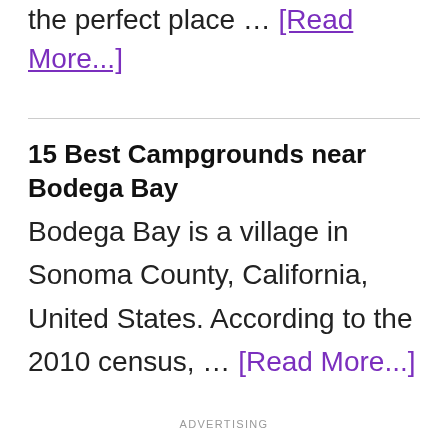the perfect place … [Read More...]
15 Best Campgrounds near Bodega Bay
Bodega Bay is a village in Sonoma County, California, United States. According to the 2010 census, … [Read More...]
ADVERTISING